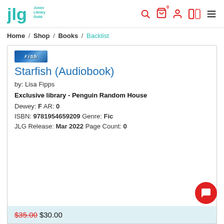JLG Junior Library Guild — Navigation header with search, cart, account, and menu icons
Home / Shop / Books / Backlist
[Figure (screenshot): Small book cover image strip for Starfish audiobook, blue tones]
Starfish (Audiobook)
by: Lisa Fipps
Exclusive library - Penguin Random House
Dewey: F AR: 0
ISBN: 9781954659209 Genre: Fic
JLG Release: Mar 2022 Page Count: 0
$35.00 $30.00